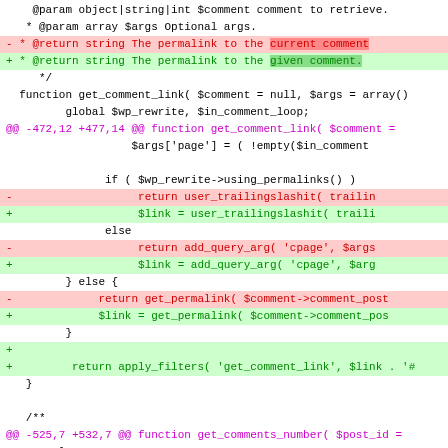[Figure (screenshot): A code diff showing changes to PHP functions get_comment_link and get_comments_number. Red highlighted lines show removed code (prefixed with -) and green highlighted lines show added code (prefixed with +). Magenta lines show @@ diff hunk headers.]